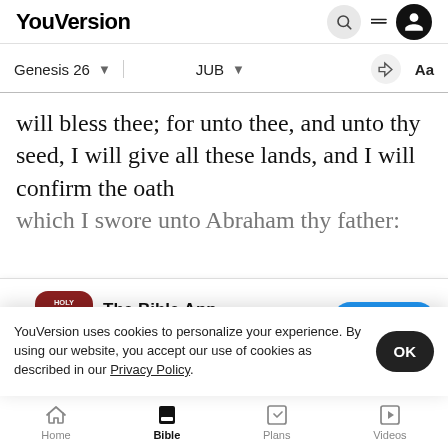YouVersion
Genesis 26  JUB
will bless thee; for unto thee, and unto thy seed, I will give all these lands, and I will confirm the oath which I swore unto Abraham thy father:
[Figure (screenshot): App store banner for The Bible App - shows app icon (Holy Bible), name, 5 star rating 7.9M, and Download button]
ven and will give unto thy seed all these lands, a
earth b
YouVersion uses cookies to personalize your experience. By using our website, you accept our use of cookies as described in our Privacy Policy.
Home  Bible  Plans  Videos